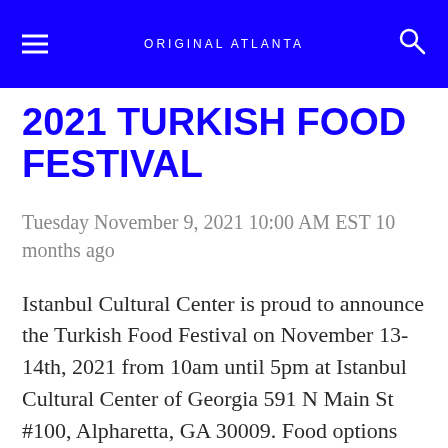ORIGINAL ATLANTA
2021 TURKISH FOOD FESTIVAL
Tuesday November 9, 2021 10:00 AM EST 10 months ago
Istanbul Cultural Center is proud to announce the Turkish Food Festival on November 13-14th, 2021 from 10am until 5pm at Istanbul Cultural Center of Georgia 591 N Main St #100, Alpharetta, GA 30009. Food options will include authentic Gyro